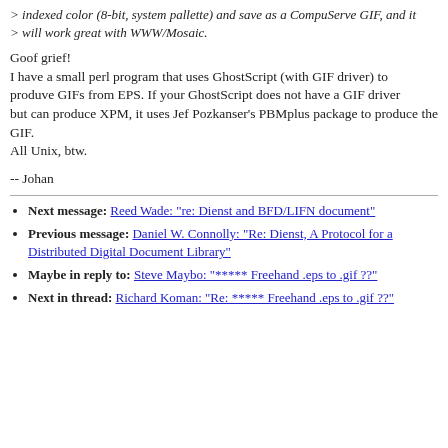> indexed color (8-bit, system pallette) and save as a CompuServe GIF, and it
> will work great with WWW/Mosaic.
Goof grief!
I have a small perl program that uses GhostScript (with GIF driver) to
produve GIFs from EPS. If your GhostScript does not have a GIF driver
but can produce XPM, it uses Jef Pozkanser's PBMplus package to produce the GIF.
All Unix, btw.
-- Johan
Next message: Reed Wade: "re: Dienst and BFD/LIFN document"
Previous message: Daniel W. Connolly: "Re: Dienst, A Protocol for a Distributed Digital Document Library"
Maybe in reply to: Steve Maybo: "***** Freehand .eps to .gif ??"
Next in thread: Richard Koman: "Re: ***** Freehand .eps to .gif ??"